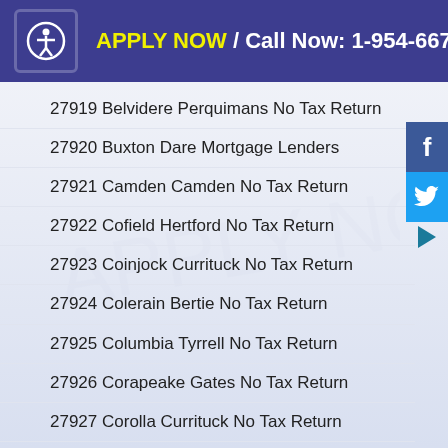APPLY NOW / Call Now: 1-954-667-9110
27919 Belvidere Perquimans No Tax Return
27920 Buxton Dare Mortgage Lenders
27921 Camden Camden No Tax Return
27922 Cofield Hertford No Tax Return
27923 Coinjock Currituck No Tax Return
27924 Colerain Bertie No Tax Return
27925 Columbia Tyrrell No Tax Return
27926 Corapeake Gates No Tax Return
27927 Corolla Currituck No Tax Return
27928 Creswell Washington No Tax Return